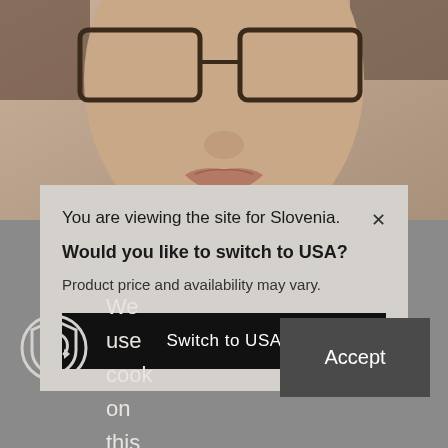[Figure (photo): Close-up photo of a woman's face wearing glasses, warm-toned background, cropped showing nose, lips, and glasses]
You are viewing the site for Slovenia.
Would you like to switch to USA?
Product price and availability may vary.
Switch to USA
We use cook on this site
Accept